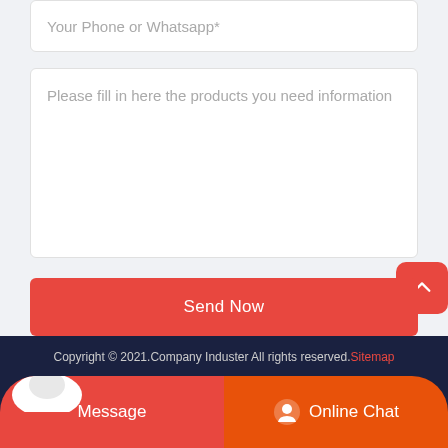Your Phone or Whatsapp*
Please fill in here the products you need information
Send Now
Copyright © 2021.Company Induster All rights reserved. Sitemap
Message
Online Chat